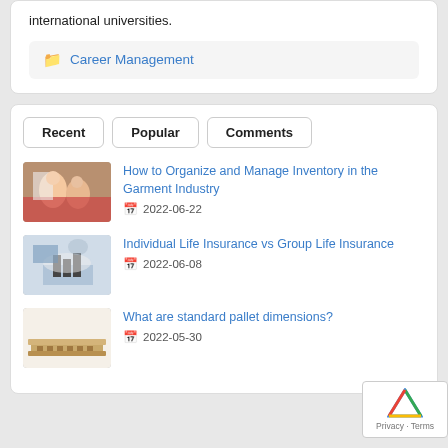international universities.
Career Management
Recent
Popular
Comments
[Figure (photo): People at a garment/retail event, women looking at tablet]
How to Organize and Manage Inventory in the Garment Industry
2022-06-22
[Figure (photo): Hands over chess pieces representing insurance/business concept]
Individual Life Insurance vs Group Life Insurance
2022-06-08
[Figure (photo): Wooden pallet on white background]
What are standard pallet dimensions?
2022-05-30